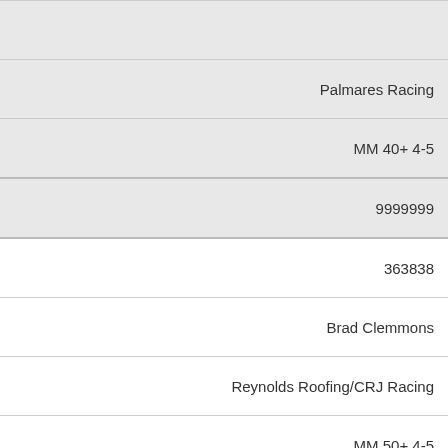|  |
| Palmares Racing |
| MM 40+ 4-5 |
| 9999999 |
| 363838 |
| Brad Clemmons |
| Reynolds Roofing/CRJ Racing |
| MM 50+ 4-5 |
| 12 |
| 362711 |
| Kevin Eldredge |